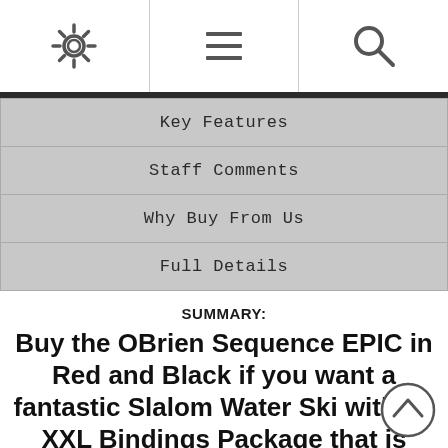[Figure (screenshot): Top navigation bar with settings gear icon, menu/hamburger icon, and search magnifying glass icon]
Key Features
Staff Comments
Why Buy From Us
Full Details
SUMMARY:
Buy the OBrien Sequence EPIC in Red and Black if you want a fantastic Slalom Water Ski with Z9 XXL Bindings Package that is aimed at intermediate level and is packed with great features.